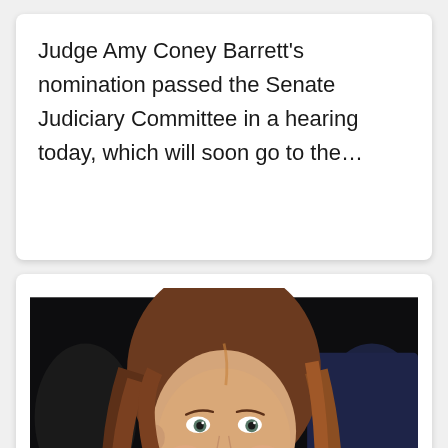Judge Amy Coney Barrett's nomination passed the Senate Judiciary Committee in a hearing today, which will soon go to the…
[Figure (photo): Photo of Judge Amy Coney Barrett smiling, with long auburn hair, wearing a tweed jacket and lavender blouse, seated at what appears to be a Senate hearing. A camera icon overlay is visible in the bottom left corner and a red scroll-to-top button in the bottom right.]